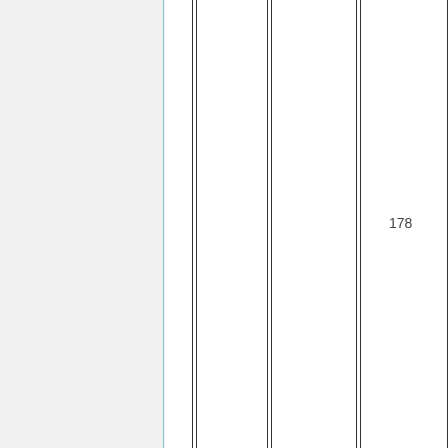|  | 178 | MSH-5 and Connectathon | Monroe |
| --- | --- | --- | --- |
|  | 178 | MSH-5 and Connectathon | Monroe |